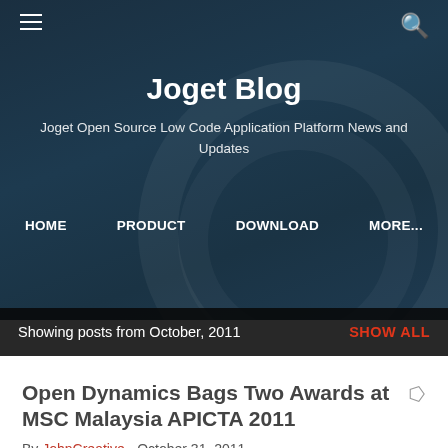Joget Blog
Joget Open Source Low Code Application Platform News and Updates
HOME  PRODUCT  DOWNLOAD  MORE...
Showing posts from October, 2011  SHOW ALL
Open Dynamics Bags Two Awards at MSC Malaysia APICTA 2011
By JohnCreative - October 31, 2011
Kuala Lumpur, Malaysia — (25 Oct 2011):